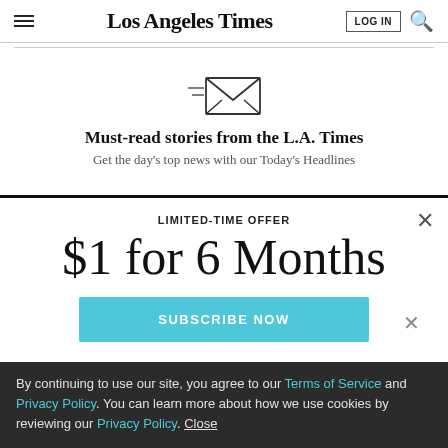Los Angeles Times
[Figure (illustration): Envelope icon with lines representing email/newsletter]
Must-read stories from the L.A. Times
Get the day's top news with our Today's Headlines
LIMITED-TIME OFFER
$1 for 6 Months
SUBSCRIBE NOW
By continuing to use our site, you agree to our Terms of Service and Privacy Policy. You can learn more about how we use cookies by reviewing our Privacy Policy. Close